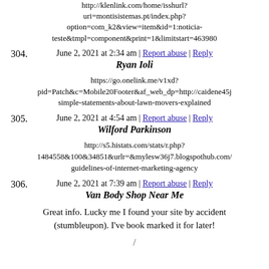http://klenlink.com/home/isshurl?uri=montisistemas.pt/index.php?option=com_k2&view=item&id=1:noticia-teste&tmpl=component&print=1&limitstart=463980
June 2, 2021 at 2:34 am | Report abuse | Reply
304. Ryan Ioli
https://go.onelink.me/v1xd?pid=Patch&c=Mobile20Footer&af_web_dp=http://caidene45j simple-statements-about-lawn-movers-explained
June 2, 2021 at 4:54 am | Report abuse | Reply
305. Wilford Parkinson
http://s5.histats.com/stats/r.php?1484558&100&34851&urlr=&mylesw36j7.blogspothub.com/ guidelines-of-internet-marketing-agency
June 2, 2021 at 7:39 am | Report abuse | Reply
306. Van Body Shop Near Me
Great info. Lucky me I found your site by accident (stumbleupon). I've book marked it for later!
/